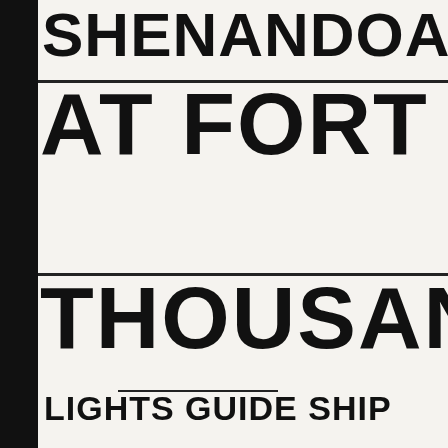SHENANDOAH
AT FORT WORTH
THOUSANDS R
LIGHTS GUIDE SHIP